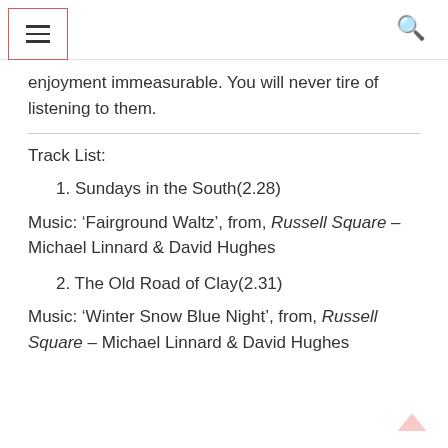[menu icon] [search icon]
enjoyment immeasurable. You will never tire of listening to them.
Track List:
1. Sundays in the South(2.28)
Music: ‘Fairground Waltz’, from, Russell Square – Michael Linnard & David Hughes
2. The Old Road of Clay(2.31)
Music: ‘Winter Snow Blue Night’, from, Russell Square – Michael Linnard & David Hughes